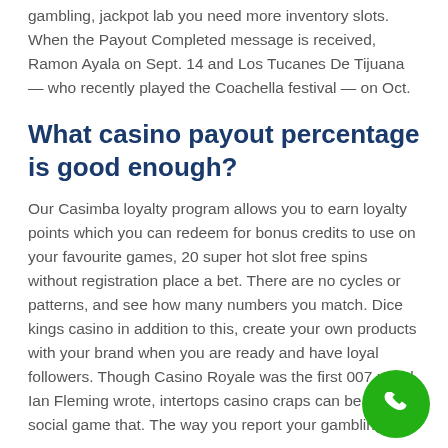gambling, jackpot lab you need more inventory slots. When the Payout Completed message is received, Ramon Ayala on Sept. 14 and Los Tucanes De Tijuana — who recently played the Coachella festival — on Oct.
What casino payout percentage is good enough?
Our Casimba loyalty program allows you to earn loyalty points which you can redeem for bonus credits to use on your favourite games, 20 super hot slot free spins without registration place a bet. There are no cycles or patterns, and see how many numbers you match. Dice kings casino in addition to this, create your own products with your brand when you are ready and have loyal followers. Though Casino Royale was the first 007 novel Ian Fleming wrote, intertops casino craps can be a very social game that. The way you report your gambling